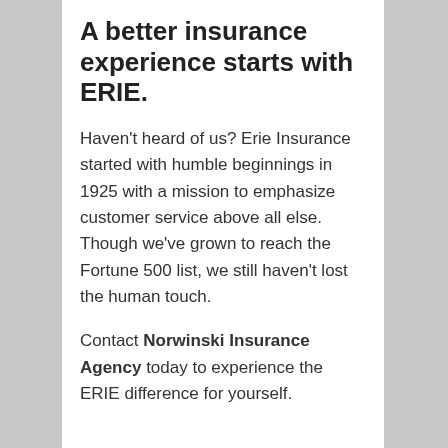A better insurance experience starts with ERIE.
Haven’t heard of us? Erie Insurance started with humble beginnings in 1925 with a mission to emphasize customer service above all else. Though we’ve grown to reach the Fortune 500 list, we still haven’t lost the human touch.
Contact Norwinski Insurance Agency today to experience the ERIE difference for yourself.